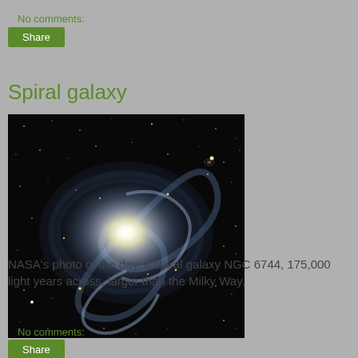No comments:
Share
Spiral galaxy
[Figure (photo): NASA astronomical photo of spiral galaxy NGC 6744, showing a large spiral galaxy with bright core and spiral arms against a black star field]
NASA's photo of the day, a spiral galaxy NGC 6744, 175,000 light years across, larger than the Milky Way.
No comments:
Share